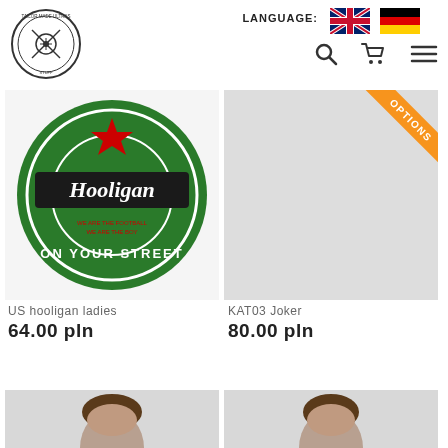[Figure (logo): Circular stamp logo with text TAILOR MADE ULTRAS STUFF and crossed tools]
LANGUAGE:
[Figure (illustration): UK flag icon]
[Figure (illustration): German flag icon]
[Figure (illustration): Search icon, cart icon, hamburger menu icon in header navigation]
[Figure (photo): Hooligan ON YOUR STREET green beer-label style t-shirt graphic close-up]
US hooligan ladies
64.00 pln
[Figure (photo): Man wearing black t-shirt with playing cards graphic, OPTIONS badge in corner]
KAT03 Joker
80.00 pln
[Figure (photo): Partial bottom image of man, left product]
[Figure (photo): Partial bottom image of man, right product]